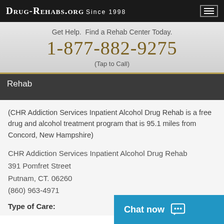Drug-Rehabs.org Since 1998
Get Help. Find a Rehab Center Today.
1-877-882-9275
(Tap to Call)
Rehab
(CHR Addiction Services Inpatient Alcohol Drug Rehab is a free drug and alcohol treatment program that is 95.1 miles from Concord, New Hampshire)
CHR Addiction Services Inpatient Alcohol Drug Rehab
391 Pomfret Street
Putnam, CT. 06260
(860) 963-4971
Type of Care: